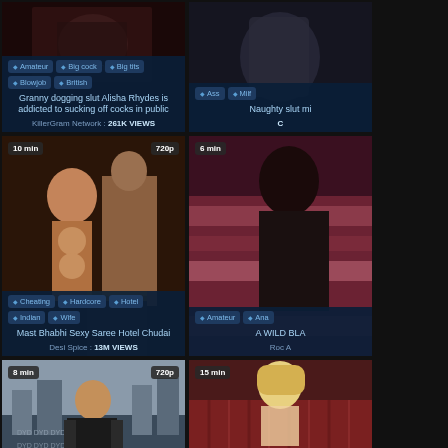[Figure (screenshot): Video thumbnail grid showing adult video content website with 6 video cards in a 2-column grid layout. Each card has thumbnail image, duration badge, quality badge, category tags, title, and view count.]
Granny dogging slut Alisha Rhydes is addicted to sucking off cocks in public
KillerGram Network : 261K VIEWS
Naughty slut mi
10 min
720p
Mast Bhabhi Sexy Saree Hotel Chudai
Desi Spice : 13M VIEWS
6 min
A WILD BLA
Roc A
8 min
720p
15 min